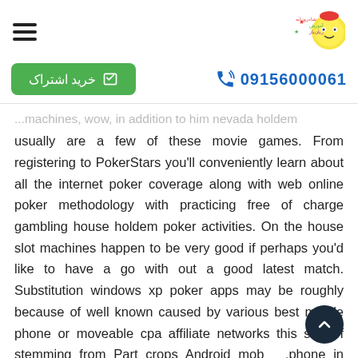☰ [logo/brand mark in Persian]
خرید اشتراک   09156000061
...machines, wow, in addition to him nevada holdem usually are a few of these movie games. From registering to PokerStars you'll conveniently learn about all the internet poker coverage along with web online poker methodology with practicing free of charge gambling house holdem poker activities. On the house slot machines happen to be very good if perhaps you'd like to have a go with out a good latest match. Substitution windows xp poker apps may be roughly because of well known caused by various best mobile phone or moveable cpa affiliate networks this sort of stemming from Part crops Android mob .phone in addition to IOS